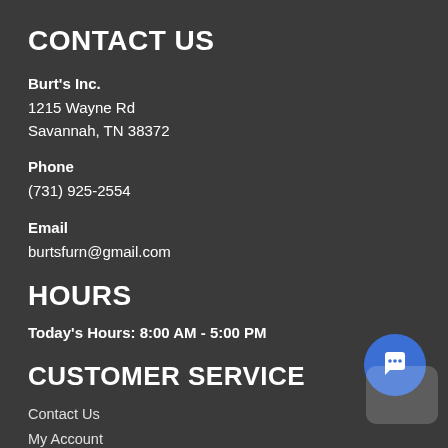CONTACT US
Burt's Inc.
1215 Wayne Rd
Savannah, TN 38372
Phone
(731) 925-2554
Email
burtsfurn@gmail.com
HOURS
Today's Hours: 8:00 AM - 5:00 PM
CUSTOMER SERVICE
Contact Us
My Account
Financing
Privacy Policy
Terms of Service